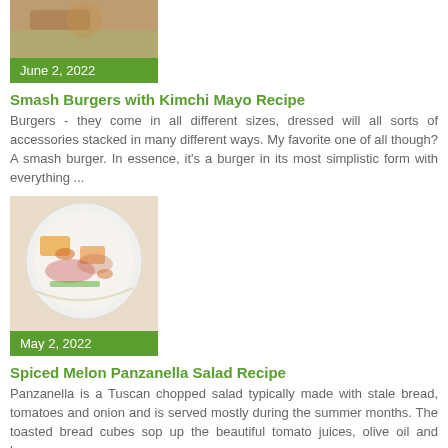[Figure (photo): Partial food photo at top of page, cropped burger or toast dish]
June 2, 2022
Smash Burgers with Kimchi Mayo Recipe
Burgers - they come in all different sizes, dressed will all sorts of accessories stacked in many different ways. My favorite one of all though? A smash burger. In essence, it's a burger in its most simplistic form with everything ...
[Figure (photo): Colorful salad with melon, herbs, and onion on a white plate]
May 2, 2022
Spiced Melon Panzanella Salad Recipe
Panzanella is a Tuscan chopped salad typically made with stale bread, tomatoes and onion and is served mostly during the summer months. The toasted bread cubes sop up the beautiful tomato juices, olive oil and lemon...
[Figure (photo): Partial food photo at bottom of page, plate with food, cropped]